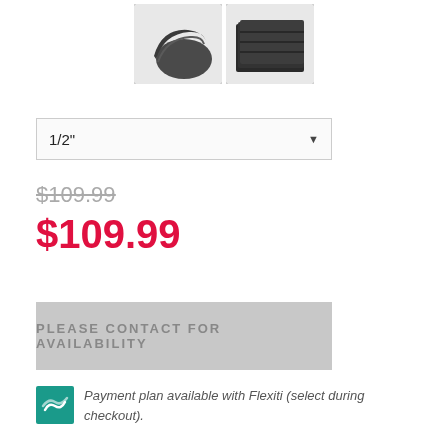[Figure (photo): Two product thumbnail images of dark/black rubber or foam material sheets]
1/2"
$109.99 (original, strikethrough)
$109.99 (sale price)
PLEASE CONTACT FOR AVAILABILITY
Payment plan available with Flexiti (select during checkout).